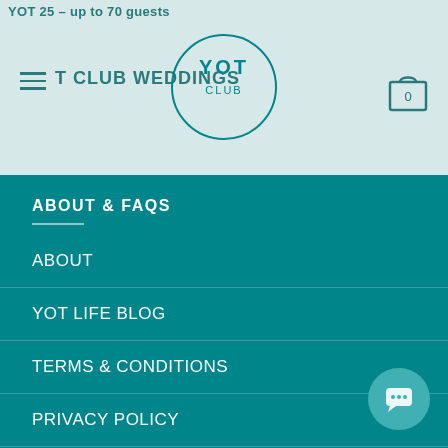YOT 25 – up to 70 guests
YOT CLUB WEDDINGS
[Figure (logo): YOT CLUB circular logo with text YOT CLUB inside a circle]
ABOUT & FAQS
ABOUT
YOT LIFE BLOG
TERMS & CONDITIONS
PRIVACY POLICY
FAQs
CONNECT
CONTACT FORM